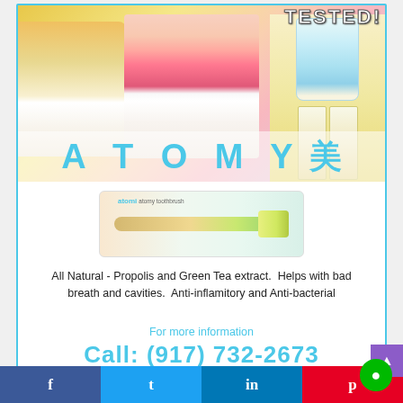[Figure (photo): Atomy beauty product advertisement showing teeth before/after, toothbrush, and Propolis dental products with 'TESTED!' text and 'ATOMY 美' branding]
[Figure (photo): Atomy toothbrush product in packaging box]
All Natural - Propolis and Green Tea extract.  Helps with bad breath and cavities.  Anti-inflamitory and Anti-bacterial
For more information
Call: (917) 732-2673
[Figure (infographic): Social media sharing bar with Facebook, Twitter, LinkedIn, Pinterest icons and a green chat button]